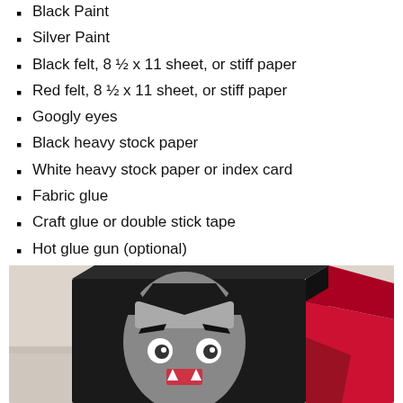Black Paint
Silver Paint
Black felt, 8 ½ x 11 sheet, or stiff paper
Red felt, 8 ½ x 11 sheet, or stiff paper
Googly eyes
Black heavy stock paper
White heavy stock paper or index card
Fabric glue
Craft glue or double stick tape
Hot glue gun (optional)
Paint brush
Scissors
[Figure (photo): A cardboard box decorated as a Dracula vampire character, painted black with a grey face, black eyebrows, googly eyes, fangs, and red/pink cape elements visible on the side.]